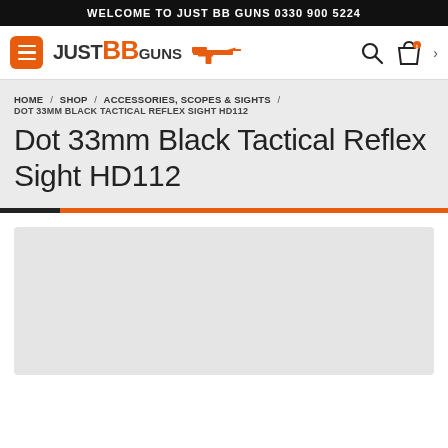WELCOME TO JUST BB GUNS 0330 900 5224
[Figure (logo): Just BB Guns logo with hamburger menu, orange and black text, gun silhouette graphic, search icon, shopping bag icon]
HOME / SHOP / ACCESSORIES, SCOPES & SIGHTS / DOT 33MM BLACK TACTICAL REFLEX SIGHT HD112
Dot 33mm Black Tactical Reflex Sight HD112
[Figure (photo): Product image placeholder area (light grey box)]